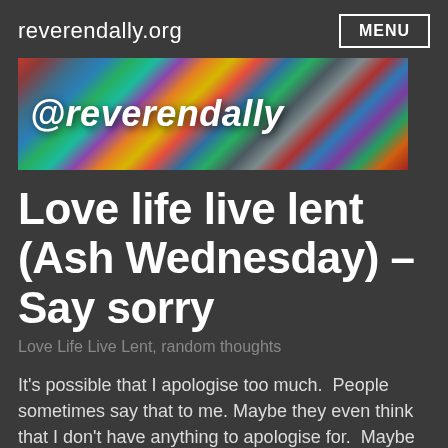reverendally.org
[Figure (illustration): Banner image showing colorful abstract painted background with text '@reverendally' in white bold italic font]
Love life live lent (Ash Wednesday) – Say sorry
Love Life Live Lent, random thoughts
It's possible that I apologise too much.  People sometimes say that to me. Maybe they even think that I don't have anything to apologise for.  Maybe they think that someone in my position ought to put